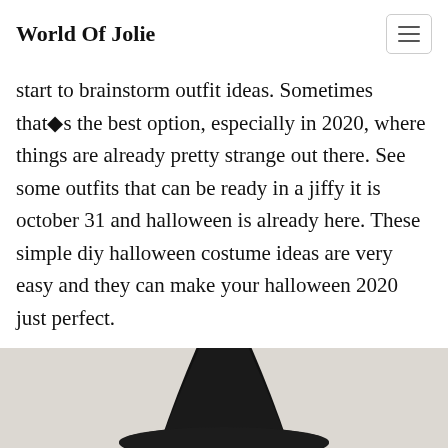World Of Jolie
start to brainstorm outfit ideas. Sometimes that◆s the best option, especially in 2020, where things are already pretty strange out there. See some outfits that can be ready in a jiffy it is october 31 and halloween is already here. These simple diy halloween costume ideas are very easy and they can make your halloween 2020 just perfect.
[Figure (photo): Bottom portion of a person wearing a dark Halloween witch hat, cropped at the bottom of the page, against a light beige/off-white background.]